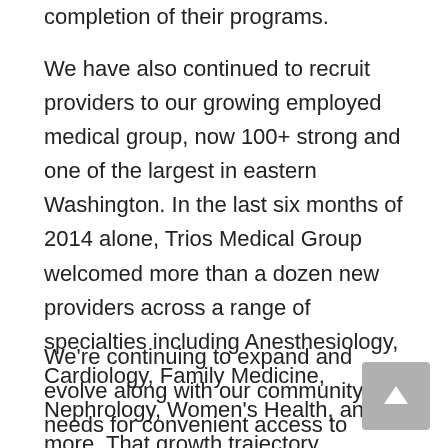completion of their programs.
We have also continued to recruit providers to our growing employed medical group, now 100+ strong and one of the largest in eastern Washington. In the last six months of 2014 alone, Trios Medical Group welcomed more than a dozen new providers across a range of specialties including Anesthesiology, Cardiology, Family Medicine, Nephrology, Women's Health, and more. That growth trajectory continues today.
We're continuing to expand and evolve along with our community's needs for convenient access to specialty care, as well as proactively to ensure we have plenty of